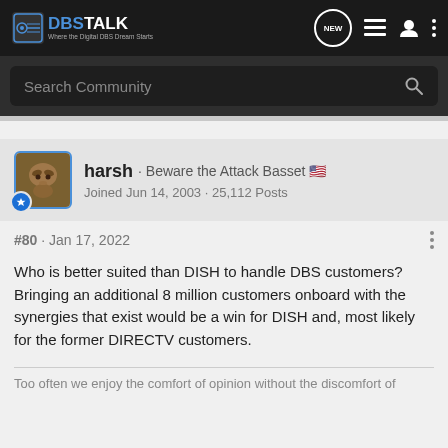[Figure (screenshot): DBSTalk forum website navigation bar with logo, NEW button, list icon, user icon, and dots menu]
[Figure (screenshot): Search Community search bar on dark background]
[Figure (photo): User avatar for 'harsh' with blue badge icon]
harsh · Beware the Attack Basset 🇺🇸
Joined Jun 14, 2003 · 25,112 Posts
#80 · Jan 17, 2022
Who is better suited than DISH to handle DBS customers? Bringing an additional 8 million customers onboard with the synergies that exist would be a win for DISH and, most likely for the former DIRECTV customers.
Too often we enjoy the comfort of opinion without the discomfort of